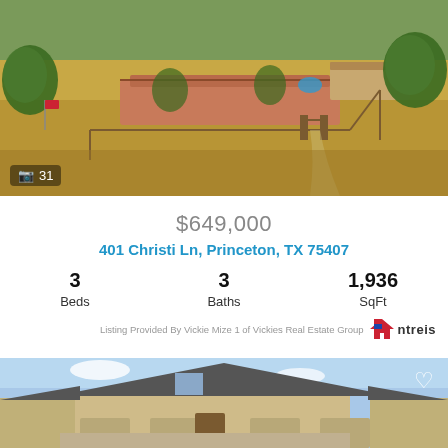[Figure (photo): Aerial view of a rural property with a ranch-style house, fenced yard, trees, and driveway. Photo count badge showing camera icon and 31.]
$649,000
401 Christi Ln, Princeton, TX 75407
3 Beds  3 Baths  1,936 SqFt
Listing Provided By Vickie Mize 1 of Vickies Real Estate Group ntreis
[Figure (photo): Front exterior of a two-story brick house with arched window, stone accents, and heart/favorite icon in top right.]